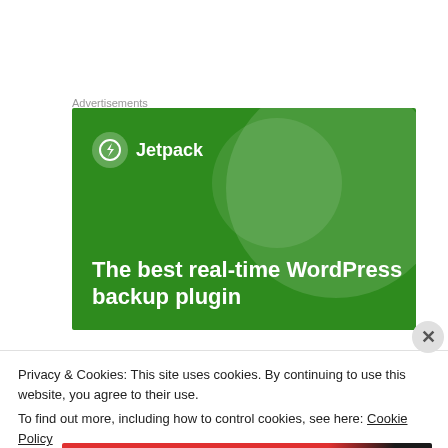Advertisements
[Figure (illustration): Jetpack advertisement banner with green background showing lightning bolt logo, large decorative circles, and text: 'The best real-time WordPress backup plugin']
Privacy & Cookies: This site uses cookies. By continuing to use this website, you agree to their use.
To find out more, including how to control cookies, see here: Cookie Policy
Close and accept